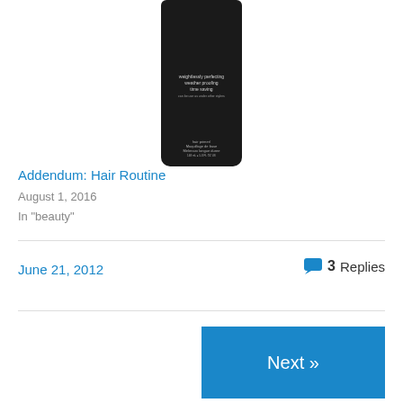[Figure (photo): Black hair product tube/bottle against white background]
Addendum: Hair Routine
August 1, 2016
In "beauty"
June 21, 2012
3 Replies
Next »